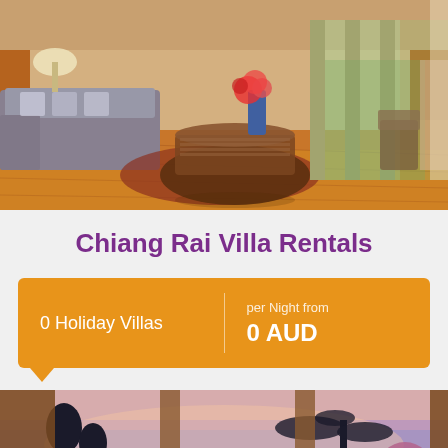[Figure (photo): Interior of a luxury villa living room with hardwood floors, grey sofas, ornate round coffee table, flower arrangement, and large glass sliding doors opening to an outdoor area with greenery.]
Chiang Rai Villa Rentals
0 Holiday Villas
per Night from
0 AUD
[Figure (photo): Twilight/dusk outdoor view of a villa terrace with silhouetted trees, a palm tree, and colorful pink and purple sky, viewed through wooden framed columns.]